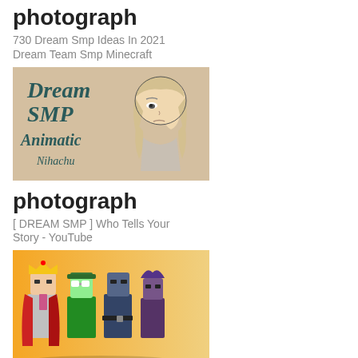photograph
730 Dream Smp Ideas In 2021
Dream Team Smp Minecraft
[Figure (illustration): Hand-drawn illustration of an anime girl with blond hair on a beige background, with text reading 'Dream SMP Animatic Nihachu' in a stylized handwritten font]
photograph
[ DREAM SMP ] Who Tells Your Story - YouTube
[Figure (illustration): Digital illustration of Minecraft-style characters in a group on an orange gradient background, including a character wearing a crown and red cape]
photograph